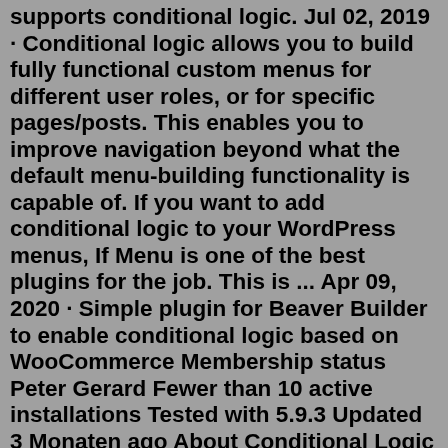supports conditional logic. Jul 02, 2019 · Conditional logic allows you to build fully functional custom menus for different user roles, or for specific pages/posts. This enables you to improve navigation beyond what the default menu-building functionality is capable of. If you want to add conditional logic to your WordPress menus, If Menu is one of the best plugins for the job. This is ... Apr 09, 2020 · Simple plugin for Beaver Builder to enable conditional logic based on WooCommerce Membership status Peter Gerard Fewer than 10 active installations Tested with 5.9.3 Updated 3 Monaten ago About Conditional Logic is thine solution because building smart, dynamic, interactive WordPress forms. Have you early and late tried building outdoors a form to that amount consists of the whole thing as each person needs and blow over including a long, difficult mess? Gotten pissed off along trying in conformity with have only certain actions and ... Feb 24, 2021 · Using conditional logic, we might choose to load a slider or other special content in that situation. With regards to